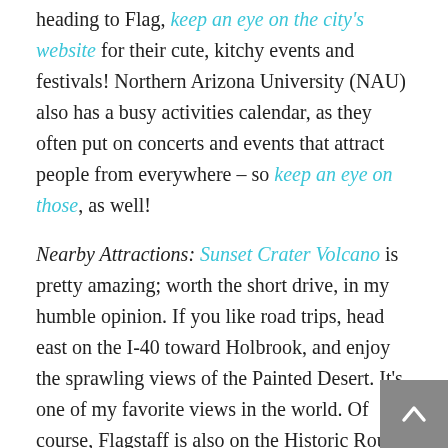heading to Flag, keep an eye on the city's website for their cute, kitchy events and festivals! Northern Arizona University (NAU) also has a busy activities calendar, as they often put on concerts and events that attract people from everywhere – so keep an eye on those, as well!

Nearby Attractions: Sunset Crater Volcano is pretty amazing; worth the short drive, in my humble opinion. If you like road trips, head east on the I-40 toward Holbrook, and enjoy the sprawling views of the Painted Desert. It's one of my favorite views in the world. Of course, Flagstaff is also on the Historic Route